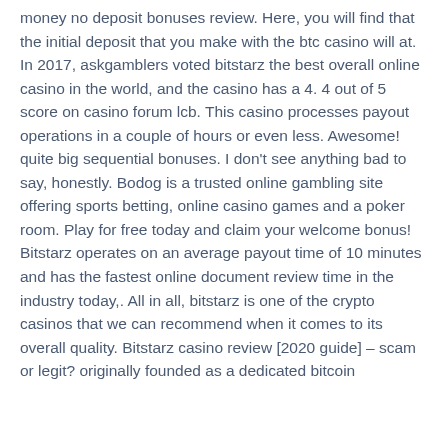money no deposit bonuses review. Here, you will find that the initial deposit that you make with the btc casino will at. In 2017, askgamblers voted bitstarz the best overall online casino in the world, and the casino has a 4. 4 out of 5 score on casino forum lcb. This casino processes payout operations in a couple of hours or even less. Awesome! quite big sequential bonuses. I don't see anything bad to say, honestly. Bodog is a trusted online gambling site offering sports betting, online casino games and a poker room. Play for free today and claim your welcome bonus! Bitstarz operates on an average payout time of 10 minutes and has the fastest online document review time in the industry today,. All in all, bitstarz is one of the crypto casinos that we can recommend when it comes to its overall quality. Bitstarz casino review [2020 guide] – scam or legit? originally founded as a dedicated bitcoin